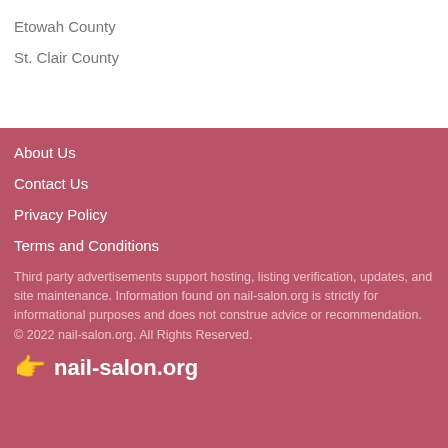Etowah County
St. Clair County
About Us
Contact Us
Privacy Policy
Terms and Conditions
Third party advertisements support hosting, listing verification, updates, and site maintenance. Information found on nail-salon.org is strictly for informational purposes and does not construe advice or recommendation.
© 2022 nail-salon.org. All Rights Reserved.
👆 nail-salon.org